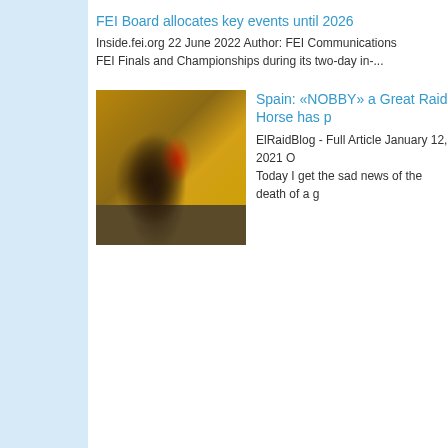FEI Board allocates key events until 2026
Inside.fei.org 22 June 2022 Author: FEI Communications FEI Finals and Championships during its two-day in-...
[Figure (photo): A horse rider in red outfit on a dark horse at what appears to be an equestrian event with a golden/yellow background canopy]
Spain: «NOBBY» a Great Raid Horse has p
ElRaidBlog - Full Article January 12, 2021 O Today I get the sad news of the death of a g